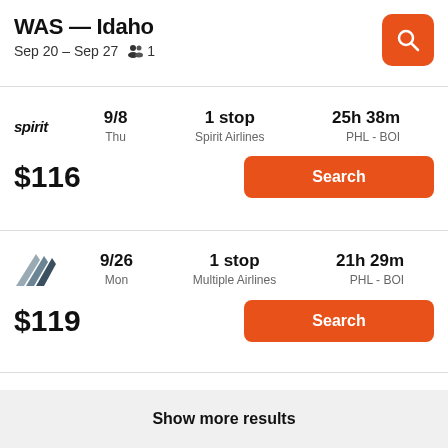WAS — Idaho
Sep 20 – Sep 27  👥 1
spirit  9/8  Thu  1 stop  Spirit Airlines  25h 38m  PHL - BOI
$116  Search
9/26  Mon  1 stop  Multiple Airlines  21h 29m  PHL - BOI
$119  Search
Show more results